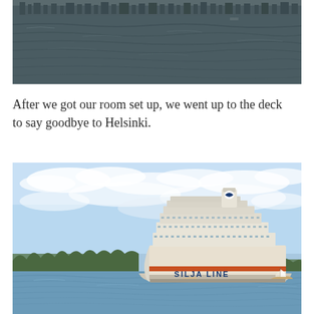[Figure (photo): View from a ship deck over dark choppy harbor water toward a city waterfront with buildings in the background. A small boat is visible on the water.]
After we got our room set up, we went up to the deck to say goodbye to Helsinki.
[Figure (photo): A large white Silja Line cruise ferry sailing on blue water near a tree-lined coast under a partly cloudy sky. A small sailboat is visible to the right.]